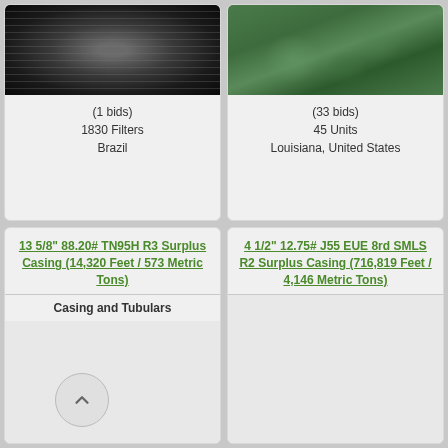[Figure (photo): Industrial cylinder interior, dark metallic ribbed surface viewed from above]
(1 bids)
1830 Filters
Brazil
[Figure (photo): Green wrapped cylindrical objects/bales stacked together]
(33 bids)
45 Units
Louisiana, United States
13 5/8" 88.20# TN95H R3 Surplus Casing (14,320 Feet / 573 Metric Tons)
Casing and Tubulars
4 1/2" 12.75# J55 EUE 8rd SMLS R2 Surplus Casing (716,819 Feet / 4,146 Metric Tons)